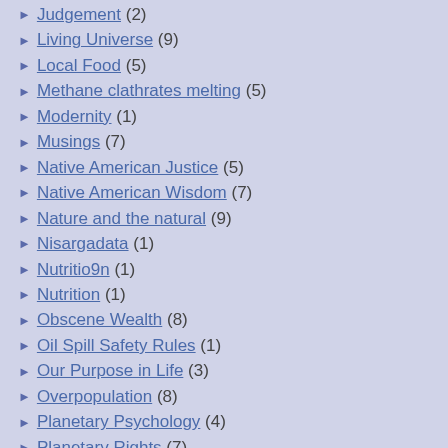Judgement (2)
Living Universe (9)
Local Food (5)
Methane clathrates melting (5)
Modernity (1)
Musings (7)
Native American Justice (5)
Native American Wisdom (7)
Nature and the natural (9)
Nisargadata (1)
Nutritio9n (1)
Nutrition (1)
Obscene Wealth (8)
Oil Spill Safety Rules (1)
Our Purpose in Life (3)
Overpopulation (8)
Planetary Psychology (4)
Planetary Rights (7)
Pollution (4)
Positive Climate News (2)
Publishing Disinformation (3)
really bad climate news (2)
Right to die (1)